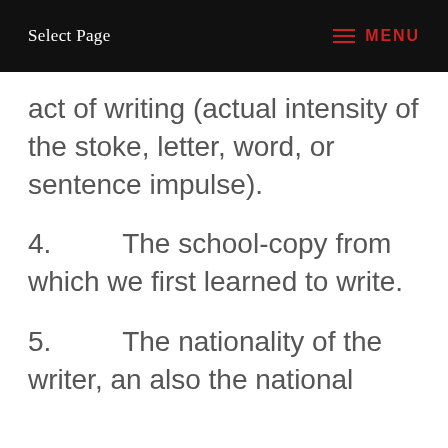Select Page   MENU
act of writing (actual intensity of the stoke, letter, word, or sentence impulse).
4.      The school-copy from which we first learned to write.
5.      The nationality of the writer, an also the national